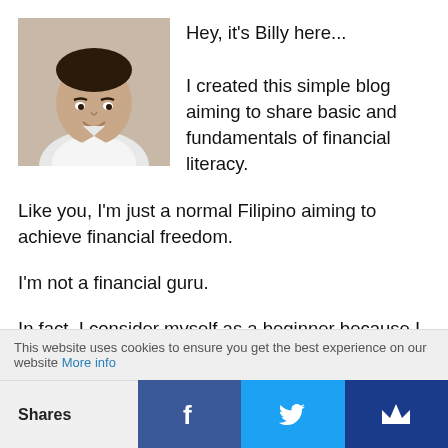[Figure (photo): Profile photo of a young man named Billy, smiling, wearing a white shirt]
Hey, it's Billy here...

I created this simple blog aiming to share basic and fundamentals of financial literacy.

Like you, I'm just a normal Filipino aiming to achieve financial freedom.

I'm not a financial guru.

In fact, I consider myself as a beginner because I know there is so much more to learn. Read More…
This website uses cookies to ensure you get the best experience on our website More info
Shares [Facebook] [Twitter] [Crown/Other]